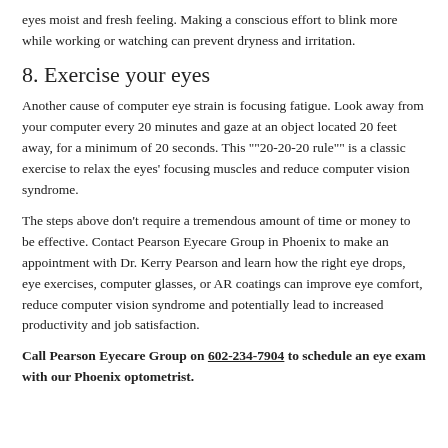eyes moist and fresh feeling. Making a conscious effort to blink more while working or watching can prevent dryness and irritation.
8. Exercise your eyes
Another cause of computer eye strain is focusing fatigue. Look away from your computer every 20 minutes and gaze at an object located 20 feet away, for a minimum of 20 seconds. This ""20-20-20 rule"" is a classic exercise to relax the eyes' focusing muscles and reduce computer vision syndrome.
The steps above don't require a tremendous amount of time or money to be effective. Contact Pearson Eyecare Group in Phoenix to make an appointment with Dr. Kerry Pearson and learn how the right eye drops, eye exercises, computer glasses, or AR coatings can improve eye comfort, reduce computer vision syndrome and potentially lead to increased productivity and job satisfaction.
Call Pearson Eyecare Group on 602-234-7904 to schedule an eye exam with our Phoenix optometrist.